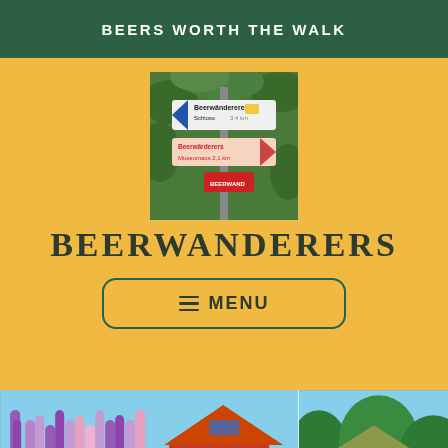BEERS WORTH THE WALK
[Figure (photo): Directional trail signs on a pole showing Beerwanderers routes with distances, surrounded by green foliage]
BEERWANDERERS
≡ MENU
[Figure (photo): Three landscape photos side by side: purple lupine flowers in a garden; a red brick building with orange roof (brewery/hotel); a white historic building surrounded by trees with a watermark Beerwanderers.com]